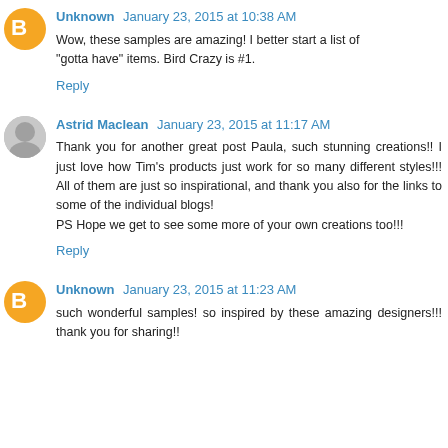Unknown January 23, 2015 at 10:38 AM
Wow, these samples are amazing! I better start a list of "gotta have" items. Bird Crazy is #1.
Reply
Astrid Maclean January 23, 2015 at 11:17 AM
Thank you for another great post Paula, such stunning creations!! I just love how Tim's products just work for so many different styles!!! All of them are just so inspirational, and thank you also for the links to some of the individual blogs!
PS Hope we get to see some more of your own creations too!!!
Reply
Unknown January 23, 2015 at 11:23 AM
such wonderful samples! so inspired by these amazing designers!!! thank you for sharing!!